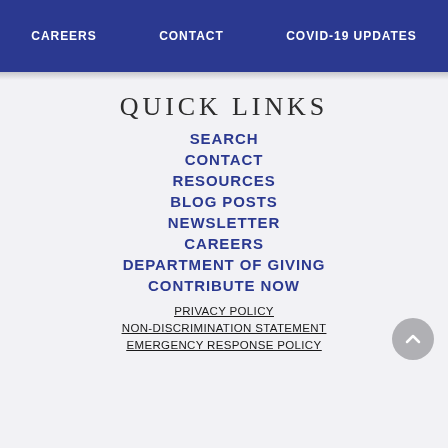CAREERS   CONTACT   COVID-19 UPDATES
QUICK LINKS
SEARCH
CONTACT
RESOURCES
BLOG POSTS
NEWSLETTER
CAREERS
DEPARTMENT OF GIVING
CONTRIBUTE NOW
PRIVACY POLICY
NON-DISCRIMINATION STATEMENT
EMERGENCY RESPONSE POLICY